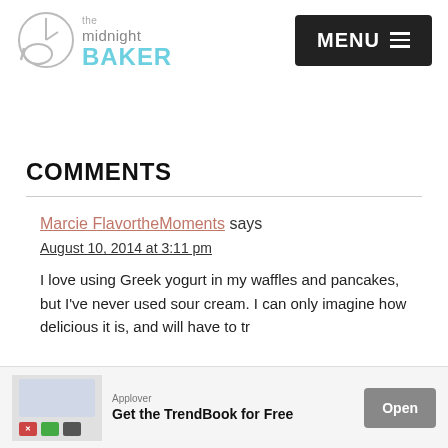The Midnight Baker — MENU
COMMENTS
Marcie FlavortheMoments says
August 10, 2014 at 3:11 pm
I love using Greek yogurt in my waffles and pancakes, but I've never used sour cream. I can only imagine how delicious it is, and will have to tr…
[Figure (other): Advertisement banner: Applover — Get the TrendBook for Free — Open button]